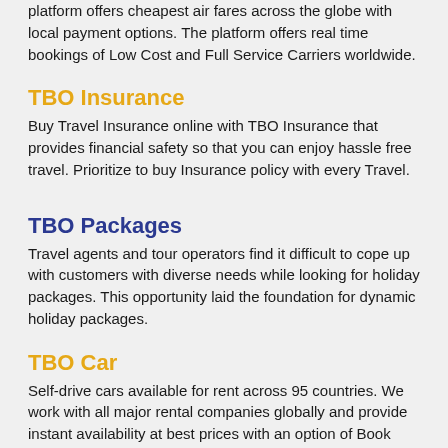platform offers cheapest air fares across the globe with local payment options. The platform offers real time bookings of Low Cost and Full Service Carriers worldwide.
TBO Insurance
Buy Travel Insurance online with TBO Insurance that provides financial safety so that you can enjoy hassle free travel. Prioritize to buy Insurance policy with every Travel.
TBO Packages
Travel agents and tour operators find it difficult to cope up with customers with diverse needs while looking for holiday packages. This opportunity laid the foundation for dynamic holiday packages.
TBO Car
Self-drive cars available for rent across 95 countries. We work with all major rental companies globally and provide instant availability at best prices with an option of Book Now - Pay Later.